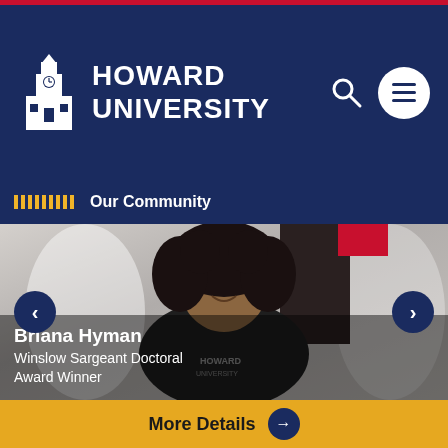Howard University
Our Community
[Figure (photo): Woman with curly hair smiling, wearing a Howard University t-shirt, standing in front of a door. Navigation arrows left and right are visible on the sides.]
Briana Hyman
Winslow Sargeant Doctoral Award Winner
More Details →